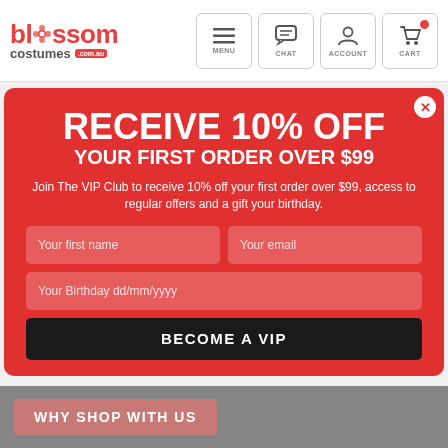[Figure (logo): Blossom Costumes logo with flower icon, red text]
[Figure (screenshot): Navigation icons: menu (hamburger), chat (speech bubble), account (person), cart (shopping cart with red dot badge)]
RECEIVE 10% OFF
YOUR FIRST ORDER OVER $99
Join The VIP Club to receive 10% off your first order over $99, access to regular offers and a gift your birthday.
Your first name
Your email
Your Birthday dd/mm/yyyy
BECOME A VIP
WHY SHOP WITH US